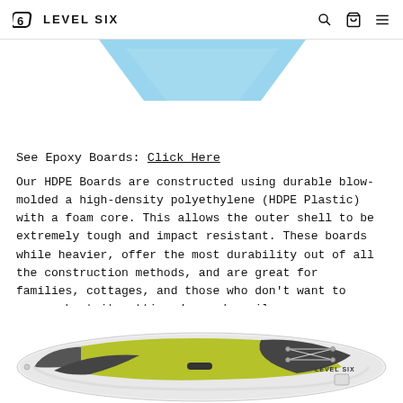LEVEL SIX
[Figure (photo): Partial top view of a light blue paddleboard, cropped at the top of the page]
See Epoxy Boards: Click Here
Our HDPE Boards are constructed using durable blow-molded a high-density polyethylene (HDPE Plastic) with a foam core. This allows the outer shell to be extremely tough and impact resistant. These boards while heavier, offer the most durability out of all the construction methods, and are great for families, cottages, and those who don't want to worry about it getting damaged easily.
[Figure (photo): Top-down view of a white, grey and yellow-green Level Six paddleboard with branding and bungee cord system visible]